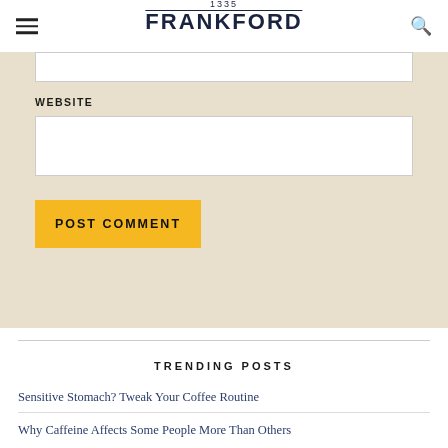1335 FRANKFORD
WEBSITE
POST COMMENT
TRENDING POSTS
Sensitive Stomach? Tweak Your Coffee Routine
Why Caffeine Affects Some People More Than Others